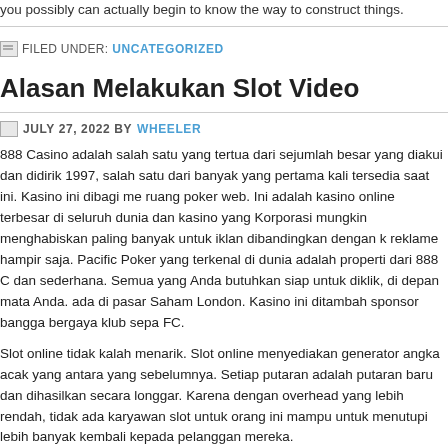you possibly can actually begin to know the way to construct things.
FILED UNDER: UNCATEGORIZED
Alasan Melakukan Slot Video
JULY 27, 2022 BY WHEELER
888 Casino adalah salah satu yang tertua dari sejumlah besar yang diakui dan didiri 1997, salah satu dari banyak yang pertama kali tersedia saat ini. Kasino ini dibagi m ruang poker web. Ini adalah kasino online terbesar di seluruh dunia dan kasino yang Korporasi mungkin menghabiskan paling banyak untuk iklan dibandingkan dengan k reklame hampir saja. Pacific Poker yang terkenal di dunia adalah properti dari 888 C dan sederhana. Semua yang Anda butuhkan siap untuk diklik, di depan mata Anda. ada di pasar Saham London. Kasino ini ditambah sponsor bangga bergaya klub sep FC.
Slot online tidak kalah menarik. Slot online menyediakan generator angka acak yang antara yang sebelumnya. Setiap putaran adalah putaran baru dan dihasilkan secara longgar. Karena dengan overhead yang lebih rendah, tidak ada karyawan slot untuk orang ini mampu untuk menutupi lebih banyak kembali kepada pelanggan mereka.
Jadi terlepas dari apakah Anda kehilangan $ 1000, oleh karena itu telah memenuhi p slot kasino online dan sekarang dapat menarik $ 500- $ 1000 Anda menang dari pe